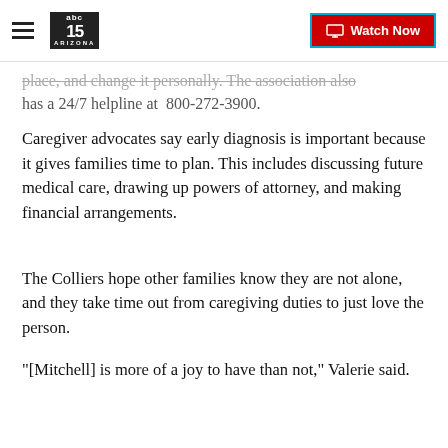abc15 ARIZONA — Watch Now
place, and change it personally. The association also has a 24/7 helpline at  800-272-3900.
Caregiver advocates say early diagnosis is important because it gives families time to plan. This includes discussing future medical care, drawing up powers of attorney, and making financial arrangements.
The Colliers hope other families know they are not alone, and they take time out from caregiving duties to just love the person.
"[Mitchell] is more of a joy to have than not," Valerie said.